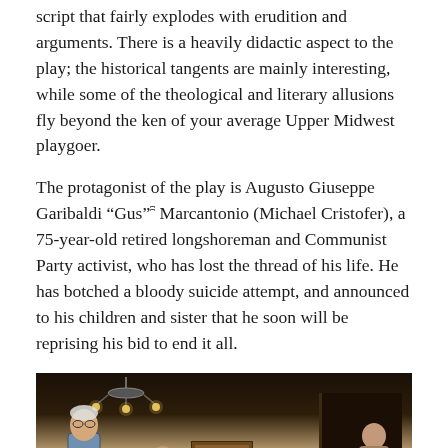script that fairly explodes with erudition and arguments. There is a heavily didactic aspect to the play; the historical tangents are mainly interesting, while some of the theological and literary allusions fly beyond the ken of your average Upper Midwest playgoer.
The protagonist of the play is Augusto Giuseppe Garibaldi “Gus” Marcantonio (Michael Cristofer), a 75-year-old retired longshoreman and Communist Party activist, who has lost the thread of his life. He has botched a bloody suicide attempt, and announced to his children and sister that he soon will be reprising his bid to end it all.
[Figure (photo): A theatre stage scene showing actors in a domestic interior set with warm lighting, a chandelier, bookshelves, and period furniture.]